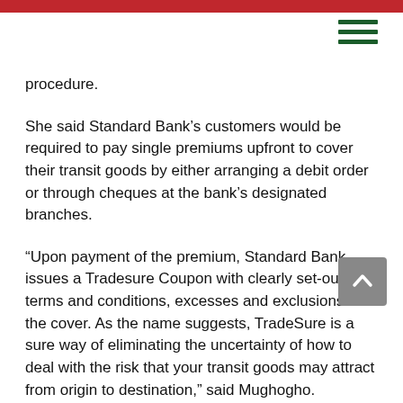procedure.
She said Standard Bank’s customers would be required to pay single premiums upfront to cover their transit goods by either arranging a debit order or through cheques at the bank’s designated branches.
“Upon payment of the premium, Standard Bank issues a Tradesure Coupon with clearly set-out terms and conditions, excesses and exclusions of the cover. As the name suggests, TradeSure is a sure way of eliminating the uncertainty of how to deal with the risk that your transit goods may attract from origin to destination,” said Mughogho.